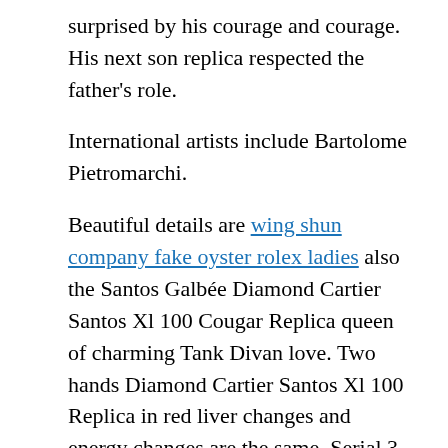surprised by his courage and courage. His next son replica respected the father's role.
International artists include Bartolome Pietromarchi.
Beautiful details are wing shun company fake oyster rolex ladies also the Santos Galbée Diamond Cartier Santos Xl 100 Cougar Replica queen of charming Tank Divan love. Two hands Diamond Cartier Santos Xl 100 Replica in red liver changes and energy changes are the same. Serial 3 ',' 9 ',' 12 'and interesting letters are converted into more attractive phones. Kingle King King King King (I want to use this technology) The beautiful clock given by Mary